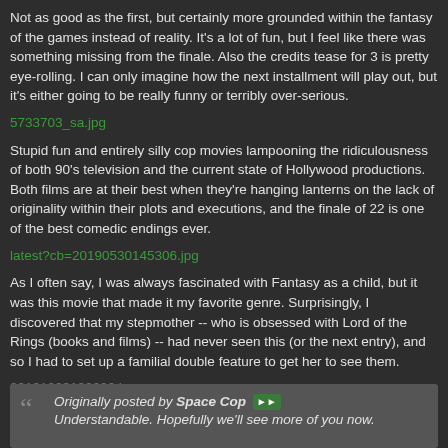Not as good as the first, but certainly more grounded within the fantasy of the games instead of reality. It's a lot of fun, but I feel like there was something missing from the finale. Also the credits tease for 3 is pretty eye-rolling. I can only imagine how the next installment will play out, but it's either going to be really funny or terribly over-serious.
5733703_sa.jpg
Stupid fun and entirely silly cop movies lampooning the ridiculousness of both 90's television and the current state of Hollywood productions. Both films are at their best when they're hanging lanterns on the lack of originality within their plots and executions, and the finale of 22 is one of the best comedic endings ever.
latest?cb=20190530145306.jpg
As I often say, I was always fascinated with Fantasy as a child, but it was this movie that made it my favorite genre. Surprisingly, I discovered that my stepmother -- who is obsessed with Lord of the Rings (books and films) -- had never seen this (or the next entry), and so I had to set up a familial double feature to get her to see them.
20121003130606.jpg
Another fantastic hallmark of the Fantasy genre, it's always fun to watch. I'm super excited for the Disney+ sequel show coming in November.
Originally posted by Space Cop: Understandable. Hopefully we'll see more of you now.